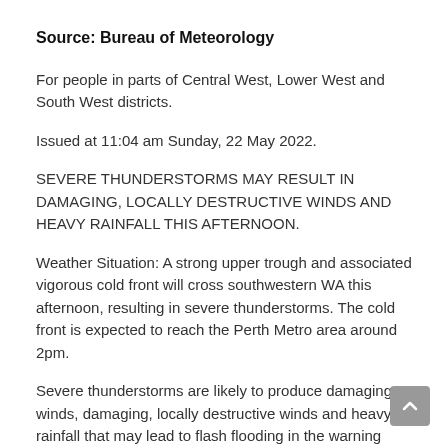Source: Bureau of Meteorology
For people in parts of Central West, Lower West and South West districts.
Issued at 11:04 am Sunday, 22 May 2022.
SEVERE THUNDERSTORMS MAY RESULT IN DAMAGING, LOCALLY DESTRUCTIVE WINDS AND HEAVY RAINFALL THIS AFTERNOON.
Weather Situation: A strong upper trough and associated vigorous cold front will cross southwestern WA this afternoon, resulting in severe thunderstorms. The cold front is expected to reach the Perth Metro area around 2pm.
Severe thunderstorms are likely to produce damaging winds, damaging, locally destructive winds and heavy rainfall that may lead to flash flooding in the warning area from midday today, then expected to affect the Perth Metro area from around 2pm, and continue into the afternoon. Locations which may be affected include